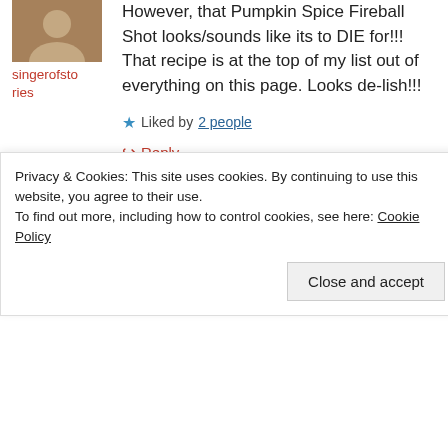[Figure (photo): Small avatar photo thumbnail of a person]
singerofstories
However, that Pumpkin Spice Fireball Shot looks/sounds like its to DIE for!!! That recipe is at the top of my list out of everything on this page. Looks de-lish!!!
★ Liked by 2 people
↪ Reply
Advertisements
[Figure (infographic): Dark banner ad with teal text reading 'Turn your blog into a money-making online course']
Privacy & Cookies: This site uses cookies. By continuing to use this website, you agree to their use. To find out more, including how to control cookies, see here: Cookie Policy
Close and accept